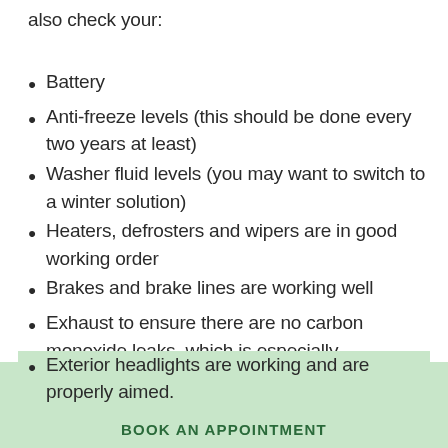also check your:
Battery
Anti-freeze levels (this should be done every two years at least)
Washer fluid levels (you may want to switch to a winter solution)
Heaters, defrosters and wipers are in good working order
Brakes and brake lines are working well
Exhaust to ensure there are no carbon monoxide leaks, which is especially dangerous in winter when people drive with the windows up
Exterior headlights are working and are properly aimed.
BOOK AN APPOINTMENT